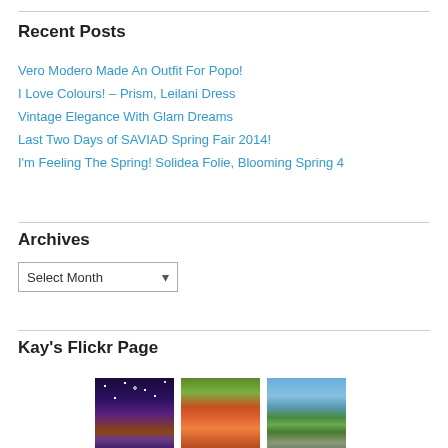Recent Posts
Vero Modero Made An Outfit For Popo!
I Love Colours! – Prism, Leilani Dress
Vintage Elegance With Glam Dreams
Last Two Days of SAVIAD Spring Fair 2014!
I'm Feeling The Spring! Solidea Folie, Blooming Spring 4
Archives
Select Month
Kay's Flickr Page
[Figure (photo): Three Flickr photos: night sky with galaxy over lavender field, monarch butterfly on red zinnia flower, rocky mountain peak with clouds]